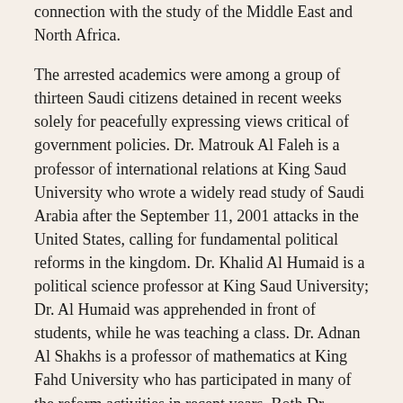connection with the study of the Middle East and North Africa.
The arrested academics were among a group of thirteen Saudi citizens detained in recent weeks solely for peacefully expressing views critical of government policies. Dr. Matrouk Al Faleh is a professor of international relations at King Saud University who wrote a widely read study of Saudi Arabia after the September 11, 2001 attacks in the United States, calling for fundamental political reforms in the kingdom. Dr. Khalid Al Humaid is a political science professor at King Saud University; Dr. Al Humaid was apprehended in front of students, while he was teaching a class. Dr. Adnan Al Shakhs is a professor of mathematics at King Fahd University who has participated in many of the reform activities in recent years. Both Dr. Tawfiq Al Qusair and Dr. Abdallah Al Hamed are former university professors who lost their positions in the early 1990s for peaceful political activity. As of March 24, 2004 Dr. Matrouk Al Faleh, Dr. Abdallah Al Hamed